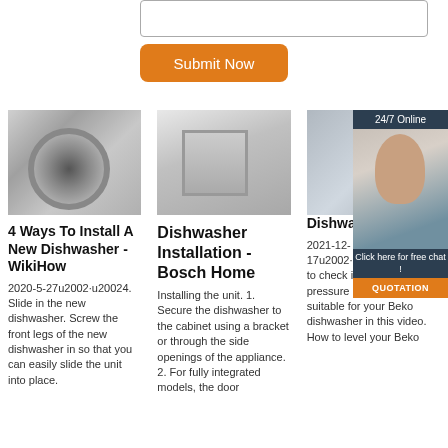[Figure (screenshot): Textarea input box (form element)]
[Figure (other): Orange 'Submit Now' button]
[Figure (photo): Washing machine drum close-up photo (black and white)]
4 Ways To Install A New Dishwasher - WikiHow
2020-5-27u2002·u20024. Slide in the new dishwasher. Screw the front legs of the new dishwasher in so that you can easily slide the unit into place.
[Figure (photo): Open dishwasher with dishes inside photo]
Dishwasher Installation - Bosch Home
Installing the unit. 1. Secure the dishwasher to the cabinet using a bracket or through the side openings of the appliance. 2. For fully integrated models, the door
[Figure (photo): Appliance (refrigerator/dishwasher) and customer service representative with headset, 24/7 Online ad overlay]
Dishwa... Guides...
2021-12-17u2002·u2002Learn how to check if the water pressure in your home is suitable for your Beko dishwasher in this video. How to level your Beko